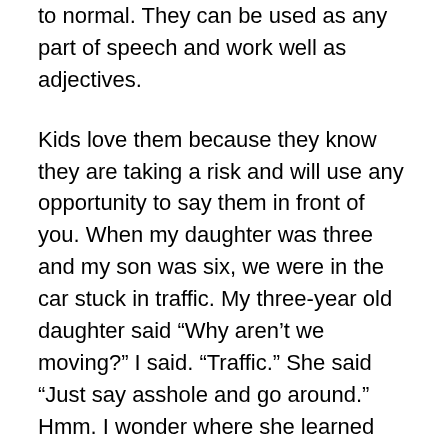to normal. They can be used as any part of speech and work well as adjectives.
Kids love them because they know they are taking a risk and will use any opportunity to say them in front of you. When my daughter was three and my son was six, we were in the car stuck in traffic. My three-year old daughter said “Why aren’t we moving?” I said. “Traffic.” She said “Just say asshole and go around.” Hmm. I wonder where she learned that asshole meant stopped car. They are like sponges. My son knowing that was not ok, managed to use the word asshole twenty times in five minutes while admonishing her not to use the word asshole.
It was very emotionally potent for me to see a profanity across the screen. I never knew how that one was spelled. Was it one word or two? I know now. I visualized my deceased parents reaction to this. They believed that